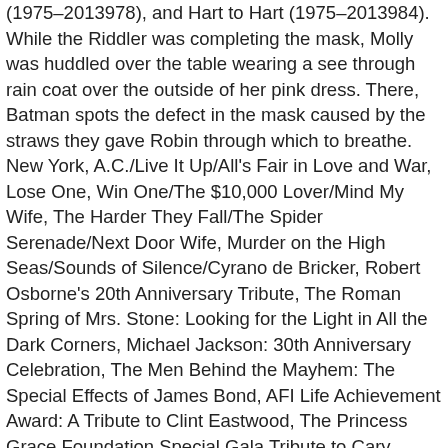(1975–1978), and Hart to Hart (1975–1984). While the Riddler was completing the mask, Molly was huddled over the table wearing a see through rain coat over the outside of her pink dress. There, Batman spots the defect in the mask caused by the straws they gave Robin through which to breathe. New York, A.C./Live It Up/All's Fair in Love and War, Lose One, Win One/The $10,000 Lover/Mind My Wife, The Harder They Fall/The Spider Serenade/Next Door Wife, Murder on the High Seas/Sounds of Silence/Cyrano de Bricker, Robert Osborne's 20th Anniversary Tribute, The Roman Spring of Mrs. Stone: Looking for the Light in All the Dark Corners, Michael Jackson: 30th Anniversary Celebration, The Men Behind the Mayhem: The Special Effects of James Bond, AFI Life Achievement Award: A Tribute to Clint Eastwood, The Princess Grace Foundation Special Gala Tribute to Cary Grant, The Annual Variety Club's Big Heart Awards, The Annual Friars Club Tribute Presents a Salute to Gene